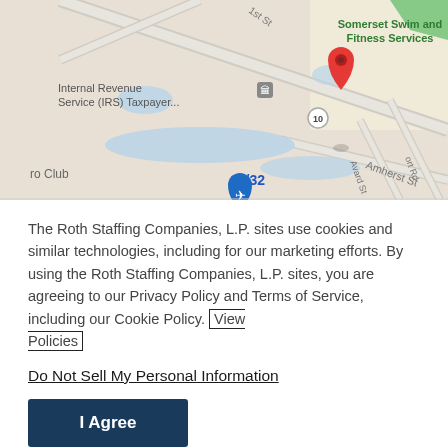[Figure (map): Google Maps screenshot showing location near Internal Revenue Service (IRS) Taxpayer... with a red location pin, Somerset Swim and Fitness Services label in green, Amherst St label, 14/32 label with blue airplane icon, and a body of water.]
The Roth Staffing Companies, L.P. sites use cookies and similar technologies, including for our marketing efforts. By using the Roth Staffing Companies, L.P. sites, you are agreeing to our Privacy Policy and Terms of Service, including our Cookie Policy. View Policies
Do Not Sell My Personal Information
I Agree